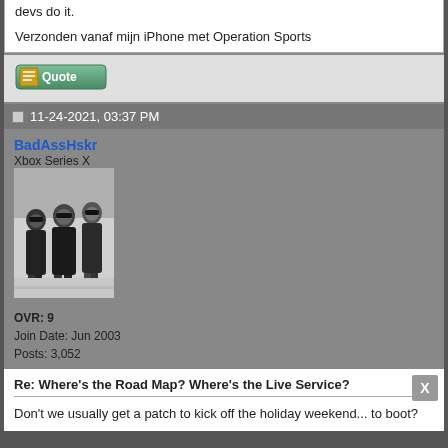devs do it.
Verzonden vanaf mijn iPhone met Operation Sports
[Figure (screenshot): Quote button with pencil/paper icon]
11-24-2021, 03:37 PM
BadAssHskr
Xbox Series X
[Figure (photo): Black and white photograph of three men in suits and sunglasses walking together]
OVR: 9
Join Date: Jun 2003
Posts: 3,052
Re: Where's the Road Map? Where's the Live Service?
Don't we usually get a patch to kick off the holiday weekend... to boot?